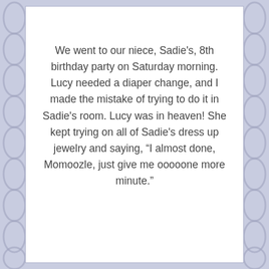We went to our niece, Sadie's, 8th birthday party on Saturday morning. Lucy needed a diaper change, and I made the mistake of trying to do it in Sadie's room. Lucy was in heaven! She kept trying on all of Sadie's dress up jewelry and saying, “I almost done, Momoozle, just give me ooooone more minute.”